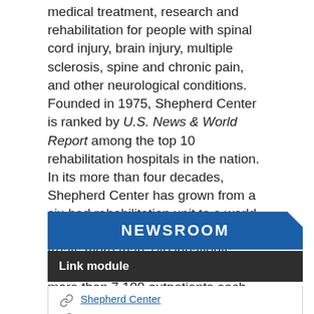medical treatment, research and rehabilitation for people with spinal cord injury, brain injury, multiple sclerosis, spine and chronic pain, and other neurological conditions. Founded in 1975, Shepherd Center is ranked by U.S. News & World Report among the top 10 rehabilitation hospitals in the nation. In its more than four decades, Shepherd Center has grown from a six-bed rehabilitation unit to a world-renowned, 152-bed hospital that treats more than 740 inpatients, nearly 280 day program patients and more than 7,100 outpatients each year in more than 46,000 visits.
NEWSROOM
Link module
Shepherd Center
Andrew C. Carlos Multiple Sclerosis Institute at Shepherd Center